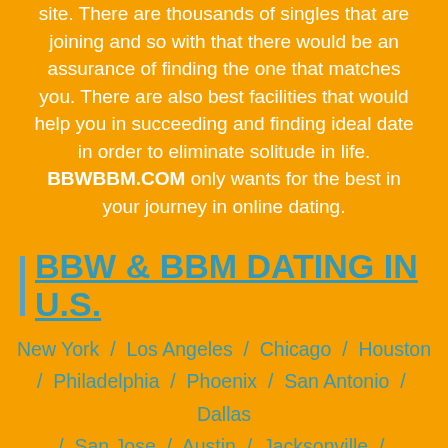site. There are thousands of singles that are joining and so with that there would be an assurance of finding the one that matches you. There are also best facilities that would help you in succeeding and finding ideal date in order to eliminate solitude in life. BBWBBM.COM only wants for the best in your journey in online dating.
BBW & BBM DATING IN U.S.
New York / Los Angeles / Chicago / Houston / Philadelphia / Phoenix / San Antonio / Dallas / San Jose / Austin / Jacksonville / Indianapolis / Columbus / Fort Worth / San Francisco / San Diego / Charlotte / Seattle / Denver / El Paso / Detroit / Washington / Boston / Memphis / Nashville-Davidson / Portland